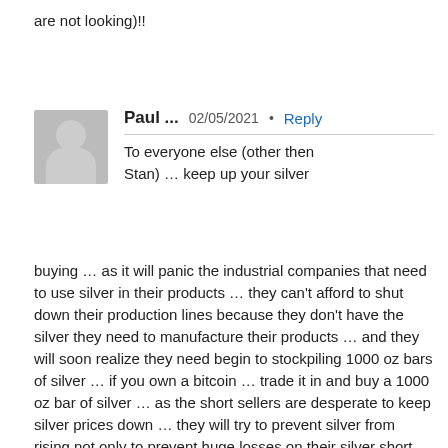are not looking)!!
Paul ...  02/05/2021  •  Reply
To everyone else (other then Stan) … keep up your silver buying … as it will panic the industrial companies that need to use silver in their products … they can't afford to shut down their production lines because they don't have the silver they need to manufacture their products … and they will soon realize they need begin to stockpiling 1000 oz bars of silver … if you own a bitcoin … trade it in and buy a 1000 oz bar of silver … as the short sellers are desperate to keep silver prices down … they will try to prevent silver from rising not only to prevent huge losses on their silver short positions but also the huge liability they will face from lawsuits by people who lost money in silver due to their